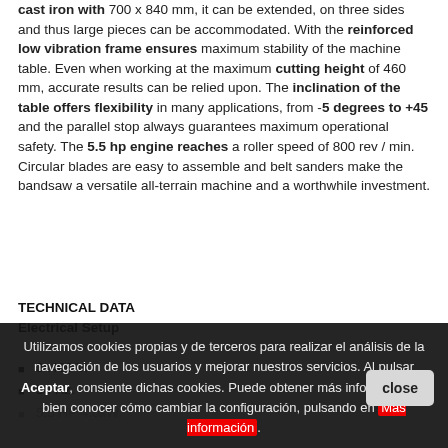cast iron with 700 x 840 mm, it can be extended, on three sides and thus large pieces can be accommodated. With the reinforced low vibration frame ensures maximum stability of the machine table. Even when working at the maximum cutting height of 460 mm, accurate results can be relied upon. The inclination of the table offers flexibility in many applications, from -5 degrees to +45 and the parallel stop always guarantees maximum operational safety. The 5.5 hp engine reaches a roller speed of 800 rev / min. Circular blades are easy to assemble and belt sanders make the bandsaw a versatile all-terrain machine and a worthwhile investment.
TECHNICAL DATA
Electrical Setup
3x400 V.
50 Hz.
5.5 HP 4.0kW.
Utilizamos cookies propias y de terceros para realizar el análisis de la navegación de los usuarios y mejorar nuestros servicios. Al pulsar Aceptar, consiente dichas cookies. Puede obtener más información, o bien conocer cómo cambiar la configuración, pulsando en Más información.